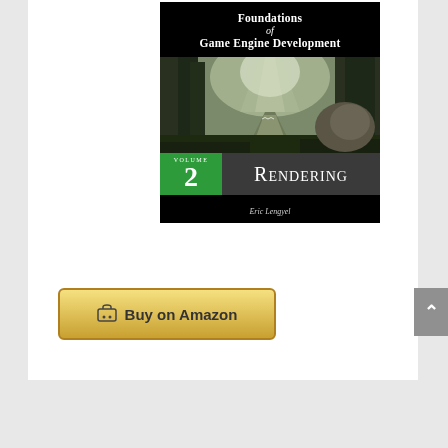[Figure (illustration): Book cover for 'Foundations of Game Engine Development, Volume 2: Rendering' by Eric Lengyel. Black title bar at top with white serif text, a forest scene with trees, sunlight and a path in the middle, a green box with 'VOLUME 2' and grey box with 'RENDERING' at the bottom, followed by a black bar with the author name 'Eric Lengyel'.]
Buy on Amazon